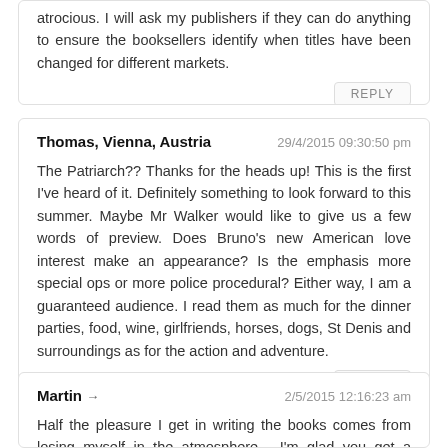atrocious. I will ask my publishers if they can do anything to ensure the booksellers identify when titles have been changed for different markets.
REPLY
Thomas, Vienna, Austria
29/4/2015 09:30:50 pm
The Patriarch?? Thanks for the heads up! This is the first I've heard of it. Definitely something to look forward to this summer. Maybe Mr Walker would like to give us a few words of preview. Does Bruno's new American love interest make an appearance? Is the emphasis more special ops or more police procedural? Either way, I am a guaranteed audience. I read them as much for the dinner parties, food, wine, girlfriends, horses, dogs, St Denis and surroundings as for the action and adventure.
REPLY
Martin →
2/5/2015 12:16:23 am
Half the pleasure I get in writing the books comes from losing myself in the atmosphere - I'm glad you get a similar